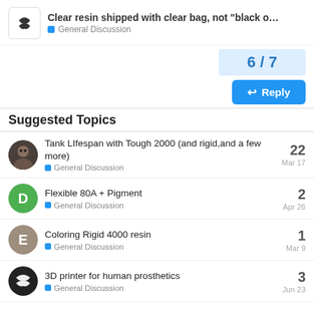Clear resin shipped with clear bag, not “black o… | General Discussion
6 / 7
↩ Reply
Suggested Topics
Tank LIfespan with Tough 2000 (and rigid,and a few more) | General Discussion | Mar 17 | 22
Flexible 80A + Pigment | General Discussion | Apr 26 | 2
Coloring Rigid 4000 resin | General Discussion | Mar 9 | 1
3D printer for human prosthetics | General Discussion | Jun 23 | 3